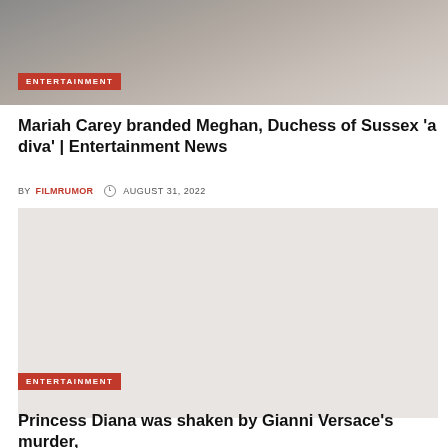[Figure (photo): Top portion of a photograph showing a person, partially cropped, with grey and brown tones]
ENTERTAINMENT
Mariah Carey branded Meghan, Duchess of Sussex 'a diva' | Entertainment News
BY FILMRUMOR  AUGUST 31, 2022
[Figure (photo): A light grey/beige placeholder image area for an article photo]
ENTERTAINMENT
Princess Diana was shaken by Gianni Versace's murder,